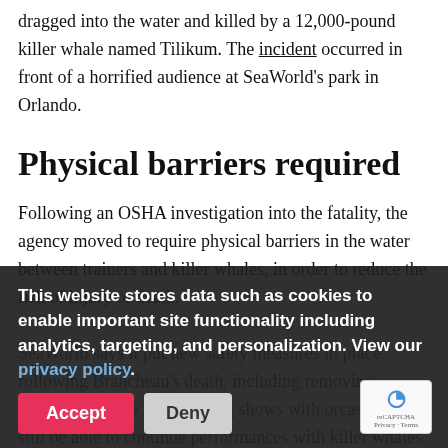dragged into the water and killed by a 12,000-pound killer whale named Tilikum. The incident occurred in front of a horrified audience at SeaWorld's park in Orlando.
Physical barriers required
Following an OSHA investigation into the fatality, the agency moved to require physical barriers in the water between trainers and killer whales, in order to reduce the risk of injury or death.
SeaWorld says it put new safety measures in place following Brancheau's death, including removing trainers from the water during shows with orcas. It will still be able to continue performances with killer whales and, according to the court, the decision simply requires that you continue with increased safety measures during our shows," the
This website stores data such as cookies to enable important site functionality including analytics, targeting, and personalization. View our privacy policy.